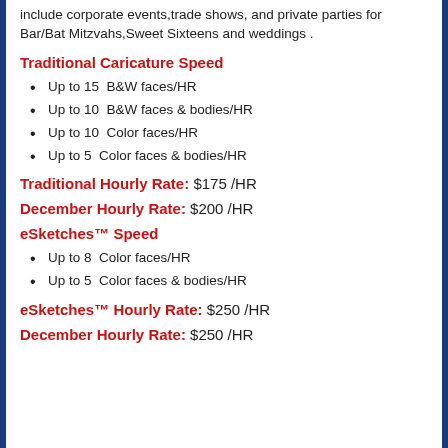include corporate events,trade shows, and private parties for Bar/Bat Mitzvahs,Sweet Sixteens and weddings .
Traditional Caricature Speed
Up to 15  B&W faces/HR
Up to 10  B&W faces & bodies/HR
Up to 10  Color faces/HR
Up to 5  Color faces & bodies/HR
Traditional Hourly Rate: $175 /HR
December Hourly Rate: $200 /HR
eSketches™ Speed
Up to 8  Color faces/HR
Up to 5  Color faces & bodies/HR
eSketches™ Hourly Rate: $250 /HR
December Hourly Rate: $250 /HR